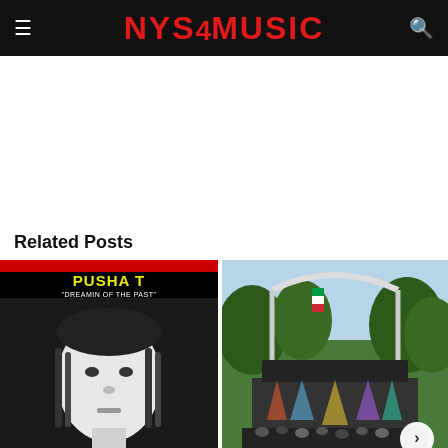NYS4MUSIC
Related Posts
[Figure (photo): Pusha T promotional image with 'Dreamin of the Past' text overlay in black and white]
[Figure (photo): Outdoor music festival stage with colorful lights, crowd, trees, and arch structure]